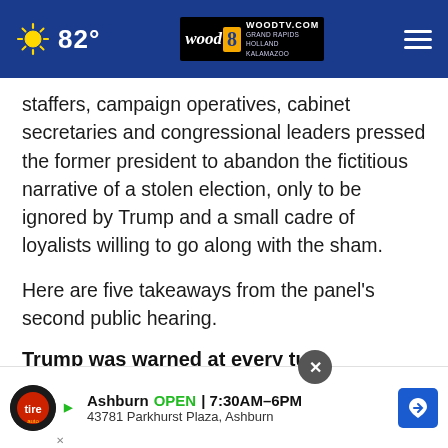82° WOODTV.COM GRAND RAPIDS HOLLAND KALAMAZOO
staffers, campaign operatives, cabinet secretaries and congressional leaders pressed the former president to abandon the fictitious narrative of a stolen election, only to be ignored by Trump and a small cadre of loyalists willing to go along with the sham.
Here are five takeaways from the panel's second public hearing.
Trump was warned at every turn
The committee brought out official after official from the ca... in detail... n
[Figure (screenshot): Advertisement overlay: Tire Auto, Ashburn OPEN 7:30AM-6PM, 43781 Parkhurst Plaza, Ashburn, with close button and navigation arrow]